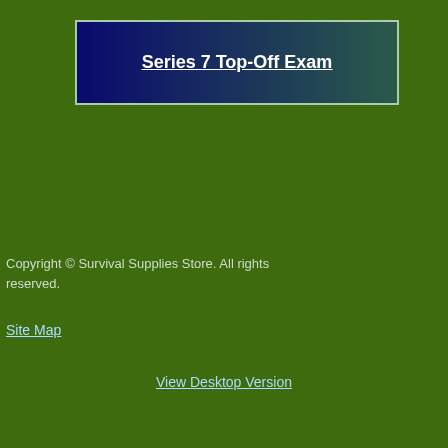Series 7 Top-Off Exam
Copyright © Survival Supplies Store. All rights reserved.
Site Map
View Desktop Version